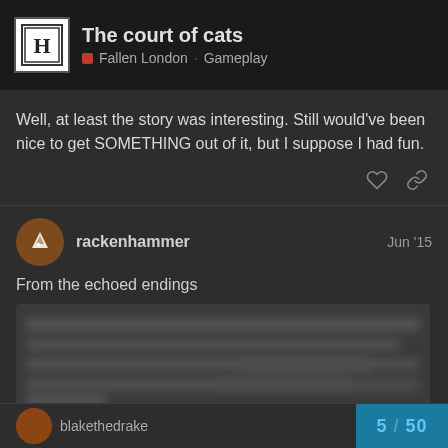The court of cats | Fallen London Gameplay
Well, at least the story was interesting. Still would've been nice to get SOMETHING out of it, but I suppose I had fun.
rackenhammer  Jun '15
From the echoed endings
[Figure (screenshot): Blurred/redacted text content from a forum post]
5 / 50